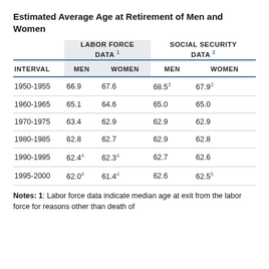Estimated Average Age at Retirement of Men and Women
| INTERVAL | LABOR FORCE DATA 1 MEN | LABOR FORCE DATA 1 WOMEN | SOCIAL SECURITY DATA 2 MEN | SOCIAL SECURITY DATA 2 WOMEN |
| --- | --- | --- | --- | --- |
| 1950-1955 | 66.9 | 67.6 | 68.53 | 67.93 |
| 1960-1965 | 65.1 | 64.6 | 65.0 | 65.0 |
| 1970-1975 | 63.4 | 62.9 | 62.9 | 62.9 |
| 1980-1985 | 62.8 | 62.7 | 62.9 | 62.8 |
| 1990-1995 | 62.44 | 62.34 | 62.7 | 62.6 |
| 1995-2000 | 62.04 | 61.44 | 62.6 | 62.55 |
Notes: 1: Labor force data indicate median age at exit from the labor force for reasons other than death of